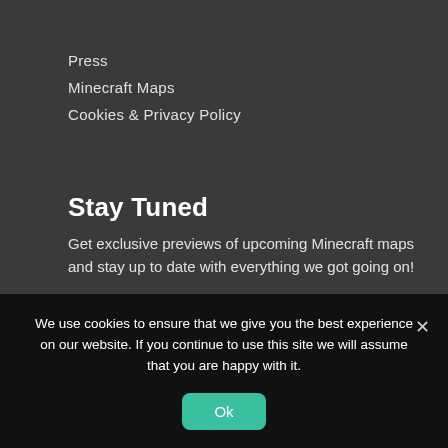Press
Minecraft Maps
Cookies & Privacy Policy
Stay Tuned
Get exclusive previews of upcoming Minecraft maps and stay up to date with everything we got going on!
Your email address
Sign up
We use cookies to ensure that we give you the best experience on our website. If you continue to use this site we will assume that you are happy with it.
Ok